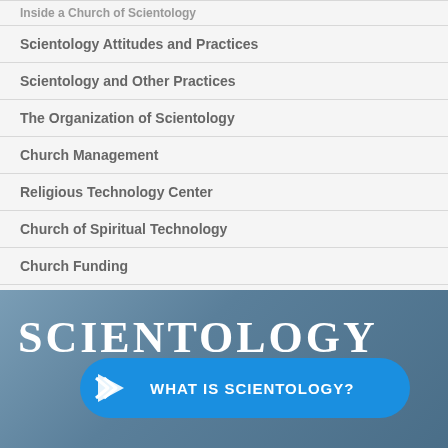Inside a Church of Scientology
Scientology Attitudes and Practices
Scientology and Other Practices
The Organization of Scientology
Church Management
Religious Technology Center
Church of Spiritual Technology
Church Funding
Scientology in Society
[Figure (screenshot): Scientology website footer with logo and 'What Is Scientology?' call-to-action button in blue on a steel-blue background]